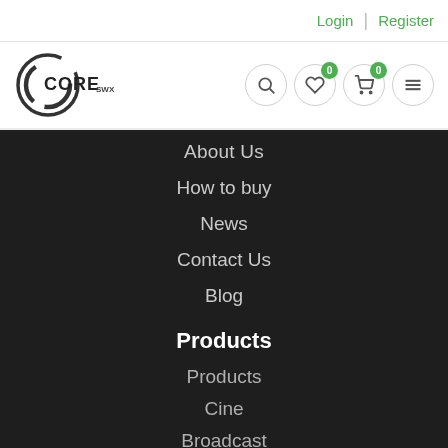Login | Register
[Figure (logo): Core SWX logo — circular arc logo mark with CORE and SWX text]
About Us
How to buy
News
Contact Us
Blog
Products
Products
Cine
Broadcast
Commercial Solution